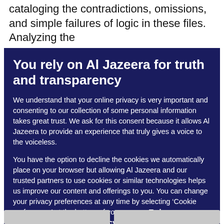cataloging the contradictions, omissions, and simple failures of logic in these files. Analyzing the
You rely on Al Jazeera for truth and transparency
We understand that your online privacy is very important and consenting to our collection of some personal information takes great trust. We ask for this consent because it allows Al Jazeera to provide an experience that truly gives a voice to the voiceless.
You have the option to decline the cookies we automatically place on your browser but allowing Al Jazeera and our trusted partners to use cookies or similar technologies helps us improve our content and offerings to you. You can change your privacy preferences at any time by selecting ‘Cookie preferences’ at the bottom of your screen. To learn more, please view our Cookie Policy.